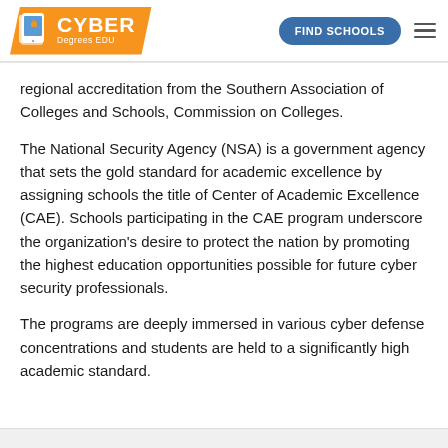[Figure (logo): CyberDegreesEDU logo with orange parallelogram background, tablet/card icon, and 'CYBER Degrees EDU' text]
FIND SCHOOLS
regional accreditation from the Southern Association of Colleges and Schools, Commission on Colleges.
The National Security Agency (NSA) is a government agency that sets the gold standard for academic excellence by assigning schools the title of Center of Academic Excellence (CAE). Schools participating in the CAE program underscore the organization's desire to protect the nation by promoting the highest education opportunities possible for future cyber security professionals.
The programs are deeply immersed in various cyber defense concentrations and students are held to a significantly high academic standard.